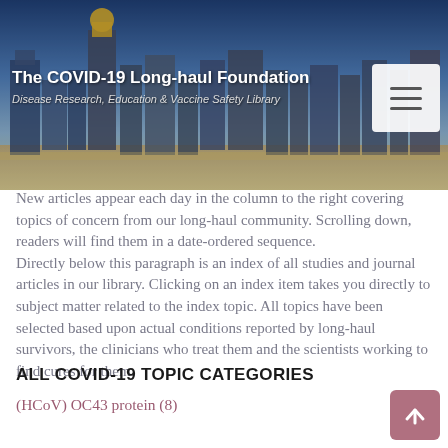[Figure (photo): City skyline photo banner with buildings and blue sky, used as website header background]
The COVID-19 Long-haul Foundation
Disease Research, Education & Vaccine Safety Library
New articles appear each day in the column to the right covering topics of concern from our long-haul community. Scrolling down, readers will find them in a date-ordered sequence.
Directly below this paragraph is an index of all studies and journal articles in our library. Clicking on an index item takes you directly to subject matter related to the index topic. All topics have been selected based upon actual conditions reported by long-haul survivors, the clinicians who treat them and the scientists working to find cures for them.
ALL COVID-19 TOPIC CATEGORIES
(HCoV) OC43 protein (8)